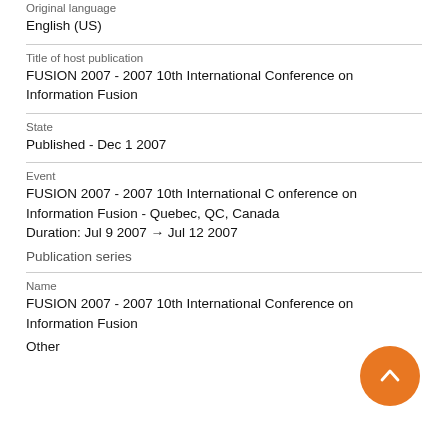Original language
English (US)
Title of host publication
FUSION 2007 - 2007 10th International Conference on Information Fusion
State
Published - Dec 1 2007
Event
FUSION 2007 - 2007 10th International Conference on Information Fusion - Quebec, QC, Canada
Duration: Jul 9 2007 → Jul 12 2007
Publication series
Name
FUSION 2007 - 2007 10th International Conference on Information Fusion
Other